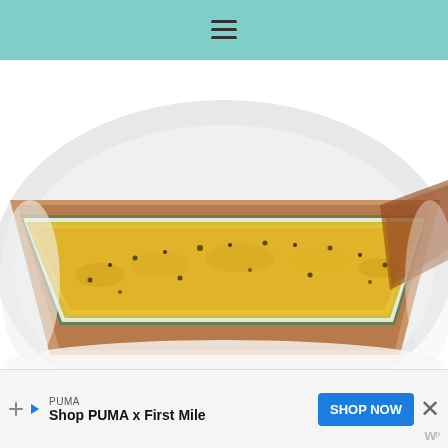[Figure (photo): A slice of quiche or savory pie on a white plate, showing a golden-brown cheesy top with herbs, green filling layer, white creamy layer, and a brown crust edge.]
Mimosas are typically served with brunch, so I opted to do that. If you've never had or made a mimosa,
[Figure (other): Advertisement banner: PUMA - Shop PUMA x First Mile, with SHOP NOW button in blue, a close (X) button, and a small watermark logo at bottom right.]